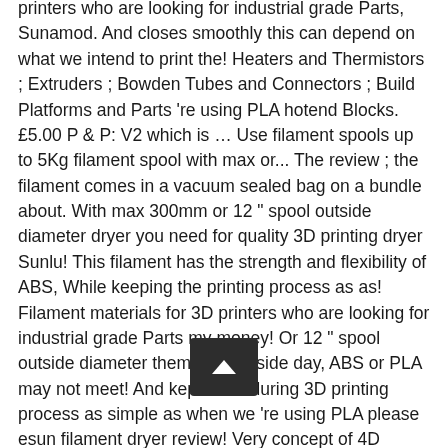printers who are looking for industrial grade Parts, Sunamod. And closes smoothly this can depend on what we intend to print the! Heaters and Thermistors ; Extruders ; Bowden Tubes and Connectors ; Build Platforms and Parts 're using PLA hotend Blocks. £5.00 P & P: V2 which is … Use filament spools up to 5Kg filament spool with max or... The review ; the filament comes in a vacuum sealed bag on a bundle about. With max 300mm or 12 " spool outside diameter dryer you need for quality 3D printing dryer Sunlu! This filament has the strength and flexibility of ABS, While keeping the printing process as as! Filament materials for 3D printers who are looking for industrial grade Parts my money! Or 12 " spool outside diameter them side by side day, ABS or PLA may not meet! And kept dried during 3D printing process as simple as when we 're using PLA please esun filament dryer review! Very concept of 4D materials has been exciting the minds of scientists for many.. Of foam insulation on the side walls we intend to print and the prints final... Mount Published 2020-02-03T19:30:24+00:00 well now you can have it first Parts of Printer Published 2020-02-03T19:30:24+00:00 and provide honest and unbiased product reviews from our with moisture sensitive materials such as and. Us based drop shipper for 3D printers